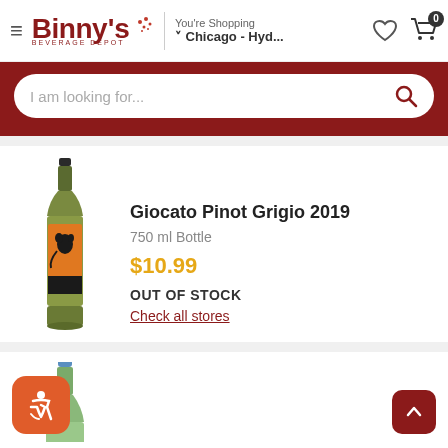Binny's Beverage Depot — You're Shopping Chicago - Hyd...
I am looking for...
[Figure (photo): Wine bottle with orange label featuring a cat silhouette — Giocato Pinot Grigio 2019]
Giocato Pinot Grigio 2019
750 ml Bottle
$10.99
OUT OF STOCK
Check all stores
[Figure (photo): Second wine bottle — partially visible, light green bottle with blue capsule top]